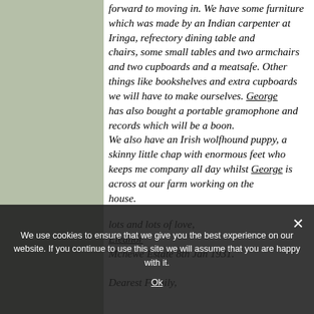forward to moving in. We have some furniture which was made by an Indian carpenter at Iringa, refrectory dining table and chairs, some small tables and two armchairs and two cupboards and a meatsafe. Other things like bookshelves and extra cupboards we will have to make ourselves. George has also bought a portable gramophone and records which will be a boon. We also have an Irish wolfhound puppy, a skinny little chap with enormous feet who keeps me company all day whilst George is across at our farm working on the house.
lots and lots of love, Eleanor
Mchewe Estate 8th Jan 1931.
Dearest Family,
We use cookies to ensure that we give you the best experience on our website. If you continue to use this site we will assume that you are happy with it. Ok